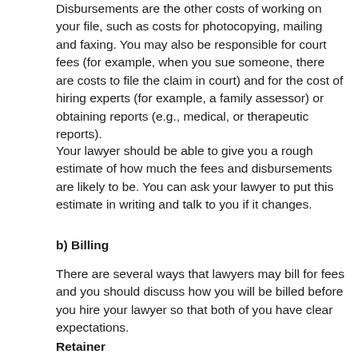Disbursements are the other costs of working on your file, such as costs for photocopying, mailing and faxing. You may also be responsible for court fees (for example, when you sue someone, there are costs to file the claim in court) and for the cost of hiring experts (for example, a family assessor) or obtaining reports (e.g., medical, or therapeutic reports).
Your lawyer should be able to give you a rough estimate of how much the fees and disbursements are likely to be. You can ask your lawyer to put this estimate in writing and talk to you if it changes.
b) Billing
There are several ways that lawyers may bill for fees and you should discuss how you will be billed before you hire your lawyer so that both of you have clear expectations.
Retainer
Usually there is a “retainer” which is a deposit you pay